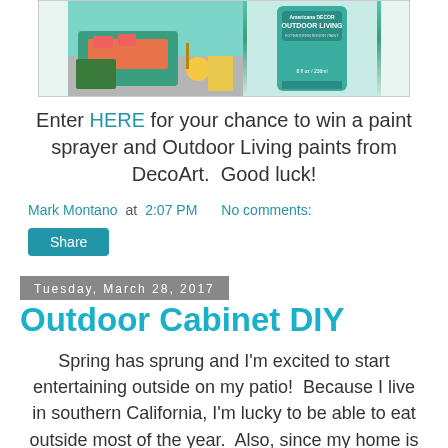[Figure (photo): Image showing a teal wicker patio sofa with colorful cushions on a deck, alongside a can of Americana Decor Outdoor Living paint.]
Enter HERE for your chance to win a paint sprayer and Outdoor Living paints from DecoArt.  Good luck!
Mark Montano at 2:07 PM   No comments:
Share
Tuesday, March 28, 2017
Outdoor Cabinet DIY
Spring has sprung and I'm excited to start entertaining outside on my patio!  Because I live in southern California, I'm lucky to be able to eat outside most of the year.  Also, since my home is on the small side, it's important that my outdoor space feels like an extension of the house, so I decorate them just like I would any indoor room.  This